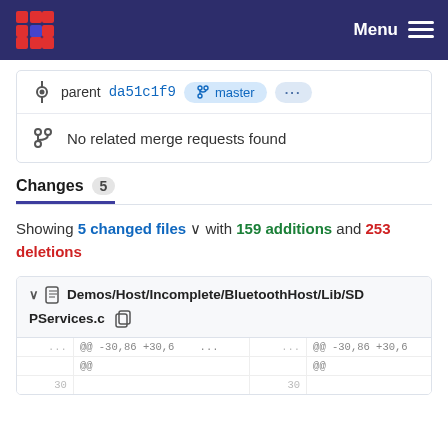Menu
parent da51c1f9 master ...
No related merge requests found
Changes 5
Showing 5 changed files with 159 additions and 253 deletions
Demos/Host/Incomplete/BluetoothHost/Lib/SDPServices.c
| ... | @@ -30,86 +30,6 @@ | ... | @@ -30,86 +30,6 @@ |
| --- | --- | --- | --- |
|  | @@ |  | @@ |
| 30 |  | 30 |  |